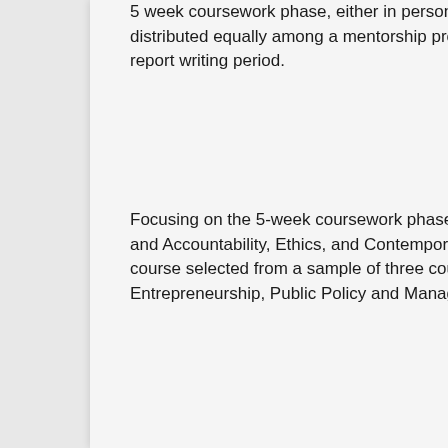5 week coursework phase, either in person or online and the remaining 12 weeks distributed equally among a mentorship program, internship or community service, and a report writing period.
Focusing on the 5-week coursework phase, it will entail three core courses (Leadership and Accountability, Ethics, and Contemporary issues affecting Africa) and one elective course selected from a sample of three courses covering three themes, namely Entrepreneurship, Public Policy and Management, and Civil Society Management.